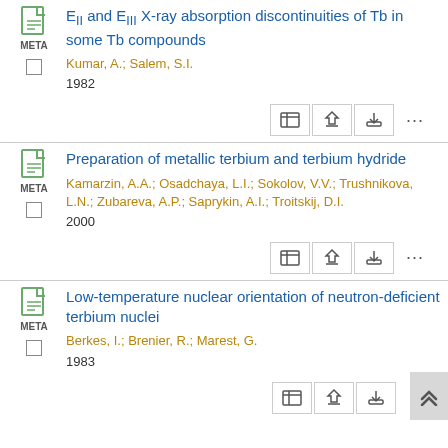E_II and E_III X-ray absorption discontinuities of Tb in some Tb compounds
Kumar, A.; Salem, S.I.
1982
Preparation of metallic terbium and terbium hydride
Kamarzin, A.A.; Osadchaya, L.I.; Sokolov, V.V.; Trushnikova, L.N.; Zubareva, A.P.; Saprykin, A.I.; Troitskij, D.I.
2000
Low-temperature nuclear orientation of neutron-deficient terbium nuclei
Berkes, I.; Brenier, R.; Marest, G.
1983